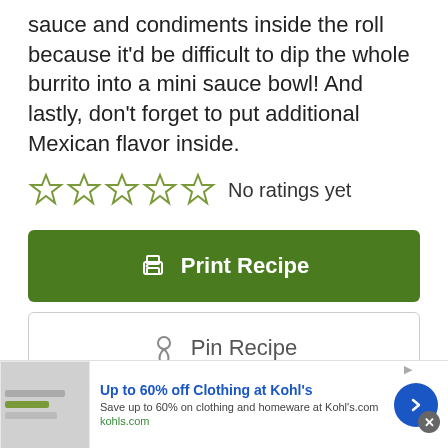sauce and condiments inside the roll because it'd be difficult to dip the whole burrito into a mini sauce bowl! And lastly, don't forget to put additional Mexican flavor inside.
No ratings yet
Print Recipe
Pin Recipe
[Figure (infographic): Advertisement banner: Up to 60% off Clothing at Kohl's. Save up to 60% on clothing and homeware at Kohl's.com. kohls.com]
Up to 60% off Clothing at Kohl's. Save up to 60% on clothing and homeware at Kohl's.com. kohls.com